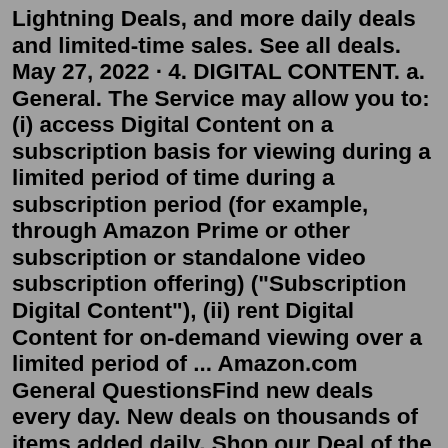Lightning Deals, and more daily deals and limited-time sales. See all deals. May 27, 2022 · 4. DIGITAL CONTENT. a. General. The Service may allow you to: (i) access Digital Content on a subscription basis for viewing during a limited period of time during a subscription period (for example, through Amazon Prime or other subscription or standalone video subscription offering) ("Subscription Digital Content"), (ii) rent Digital Content for on-demand viewing over a limited period of ... Amazon.com General QuestionsFind new deals every day. New deals on thousands of items added daily. Shop our Deal of the Day, Lightning Deals, and more daily deals and limited-time sales. See all deals. Dec 07, 2021 · If you want to contact Amazon, you can call their customer service by dialing 1-888-280-4331. Another way to contact Amazon is to use their online contact form. To do this, first visit the Contact Us page on their website. When you're on the page, answer their questions about your problem so they know what to help you with. Quick Solutions. Track